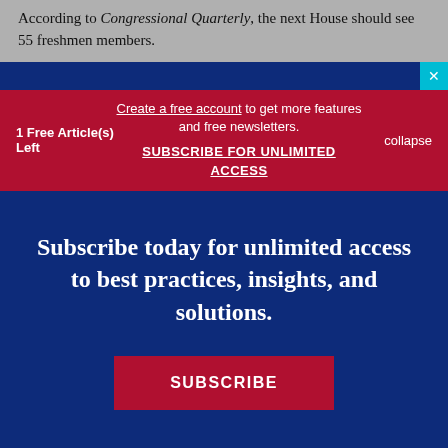According to Congressional Quarterly, the next House should see 55 freshmen members.
1 Free Article(s) Left
Create a free account to get more features and free newsletters. SUBSCRIBE FOR UNLIMITED ACCESS
collapse
Subscribe today for unlimited access to best practices, insights, and solutions.
SUBSCRIBE